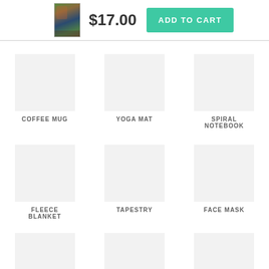[Figure (photo): Small product thumbnail image]
$17.00
ADD TO CART
COFFEE MUG
YOGA MAT
SPIRAL NOTEBOOK
FLEECE BLANKET
TAPESTRY
FACE MASK
JIGSAW PUZZLE
STICKER
ORNAMENT